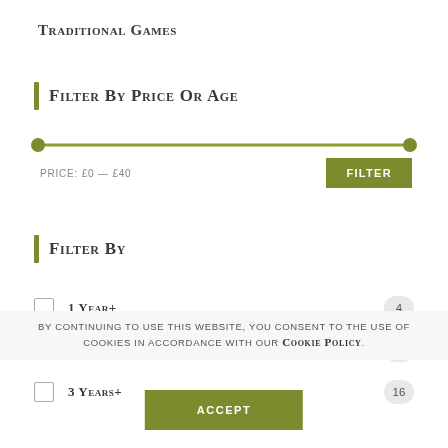Traditional Games
Filter By Price Or Age
[Figure (other): A horizontal range slider with two circular handles at left and right ends of the track, colored olive/green.]
Price: £0 — £40
Filter By
1 Year+  4
2 Years+  8
3 Years+  16
By continuing to use this website, you consent to the use of cookies in accordance with our Cookie Policy.
Accept